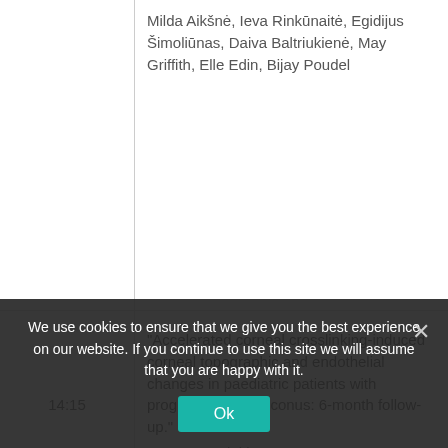| Time | Content |
| --- | --- |
|  | Milda Aikšnė, Ieva Rinkūnaitė, Egidijus Šimoliūnas, Daiva Baltriukienė, May Griffith, Elle Edin, Bijay Poudel |
| 14:15 | “Accelerated corneal crosslinking-induced corneal topographic and endothelial changes in paediatric patients with progressive keratoconus: 6-month follow-up.” Ugne Rumelaitiene, Tomas… |
We use cookies to ensure that we give you the best experience on our website. If you continue to use this site we will assume that you are happy with it.